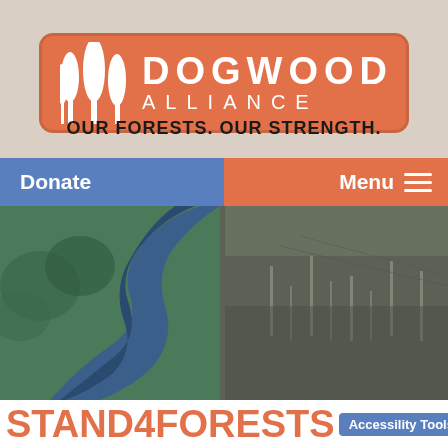[Figure (logo): Dogwood Alliance logo — orange rounded rectangle with white tree silhouettes on left and DOGWOOD ALLIANCE text in white on right]
OUR FORESTS. OUR STRENGTH.
Donate
Menu
[Figure (photo): Aerial photograph of a river winding through forested wetlands on the left side, with a large cleared/logged area visible on the right side, showing dark soil and sparse standing dead trees]
STAND4FORESTS IN NORTH CAROLINA
Accessibility Tools